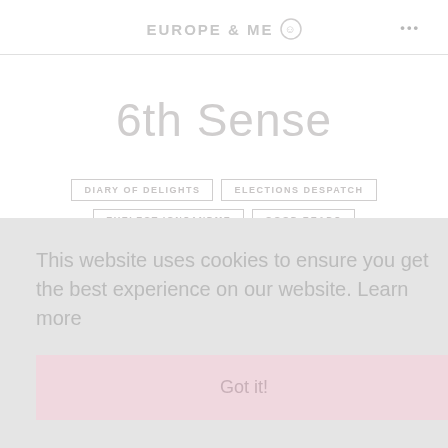EUROPE & ME
6th Sense
DIARY OF DELIGHTS
ELECTIONS DESPATCH
EUELECTIONSAN DME
GOOD READS
This website uses cookies to ensure you get the best experience on our website. Learn more
Got it!